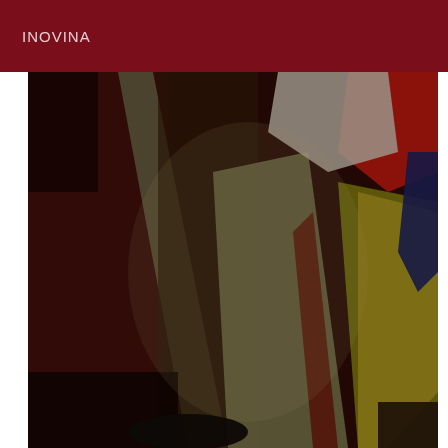INOVINA
[Figure (photo): A dark, blurry photograph showing what appears to be a cluttered closet or storage area with various items of clothing visible, including a yellow garment, a red item, and a white patterned piece. The background is very dark brown/maroon. The image is taken at an angle.]